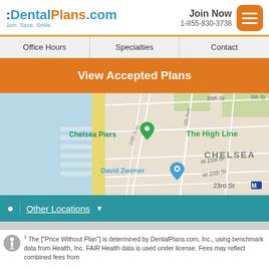:DentalPlans.com Join. Save. Smile. Join Now 1-855-830-3738
Office Hours
Specialties
Contact
View Accepted Plans
[Figure (map): Google Map showing Chelsea area of New York City with a green location pin near Chelsea Piers, another pin near David Zwirner gallery on 10th Ave, The High Line label, 9th Ave, CHELSEA neighborhood label, 23rd St subway marker, and street grid including W 21st St, W 20th St, 25th St.]
Other Locations ▾
1 The ["Price Without Plan"] is determined by DentalPlans.com, Inc., using benchmark data from Health, Inc. FAIR Health data is used under license. Fees may reflect combined fees from